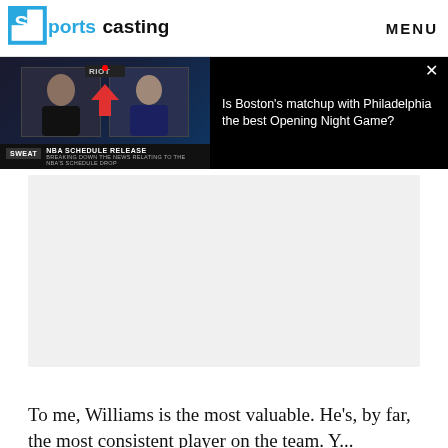Sportscasting  MENU
[Figure (screenshot): Video player showing two people in split screen with NBA Schedule Release lower-third graphic and SWEAT branding, alongside a black panel with text 'Is Boston's matchup with Philadelphia the best Opening Night Game?' and a close button]
[Figure (screenshot): Grey placeholder/advertisement box]
To me, Williams is the most valuable. He's, by far, the most consistent player on the team. Y...